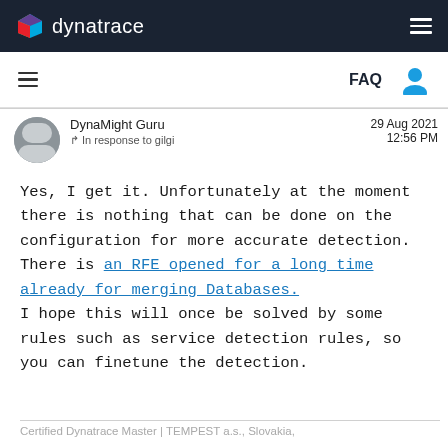dynatrace
DynaMight Guru   In response to gilgi   29 Aug 2021 12:56 PM
Yes, I get it. Unfortunately at the moment there is nothing that can be done on the configuration for more accurate detection. There is an RFE opened for a long time already for merging Databases. I hope this will once be solved by some rules such as service detection rules, so you can finetune the detection.
Certified Dynatrace Master | TEMPEST a.s., Slovakia,